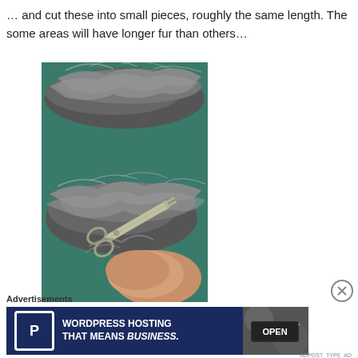… and cut these into small pieces, roughly the same length. The some areas will have longer fur than others…
[Figure (photo): Photo of grey fur/wool pieces on a teal/green surface, with scissors cutting the fur in the lower portion of the image.]
Advertisements
[Figure (screenshot): Advertisement banner for WordPress Hosting showing 'WORDPRESS HOSTING THAT MEANS BUSINESS.' with a P icon and an OPEN sign image.]